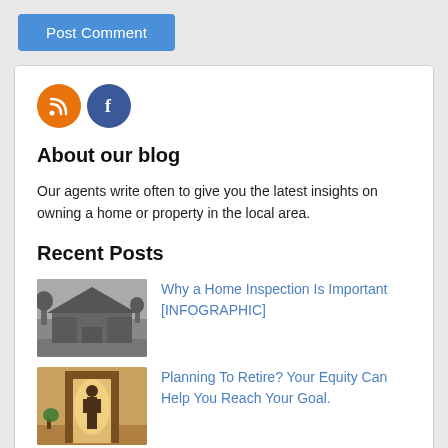Post Comment
[Figure (infographic): RSS and Facebook social icon circles]
About our blog
Our agents write often to give you the latest insights on owning a home or property in the local area.
Recent Posts
[Figure (photo): Grayscale photo of a large suburban house with trees]
Why a Home Inspection Is Important [INFOGRAPHIC]
[Figure (photo): Color photo of a person walking through a doorway into a home interior]
Planning To Retire? Your Equity Can Help You Reach Your Goal.